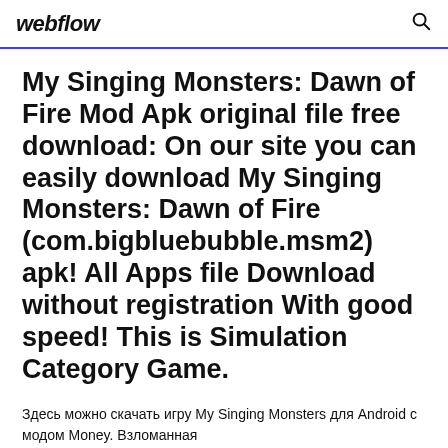webflow
My Singing Monsters: Dawn of Fire Mod Apk original file free download: On our site you can easily download My Singing Monsters: Dawn of Fire (com.bigbluebubble.msm2) apk! All Apps file Download without registration With good speed! This is Simulation Category Game.
Здесь можно скачать игру My Singing Monsters для Android с модом Money. Взломанная